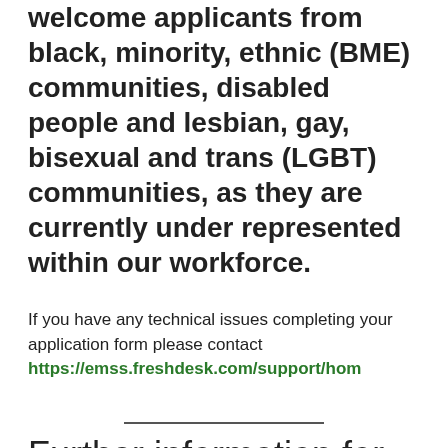welcome applicants from black, minority, ethnic (BME) communities, disabled people and lesbian, gay, bisexual and trans (LGBT) communities, as they are currently under represented within our workforce.
If you have any technical issues completing your application form please contact https://emss.freshdesk.com/support/home
Further information for this job